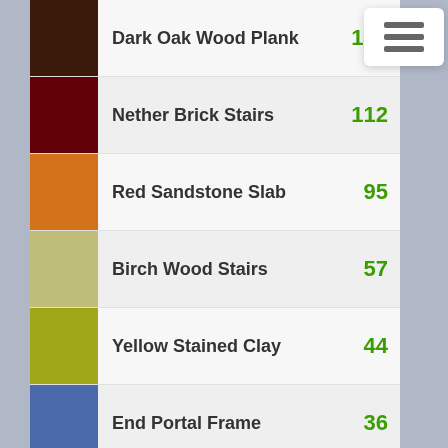Dark Oak Wood Plank — 148
Nether Brick Stairs — 112
Red Sandstone Slab — 95
Birch Wood Stairs — 57
Yellow Stained Clay — 44
End Portal Frame — 36
View Other Materials — 264